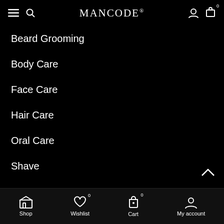≡  🔍  MANCODE®  👤  🛒 0
Beard Grooming
Body Care
Face Care
Hair Care
Oral Care
Shave
USEFUL LINKS
Privacy Policy
Returns & Refund Policy
Shipping Policy
Shop  Wishlist 0  Cart 0  My account